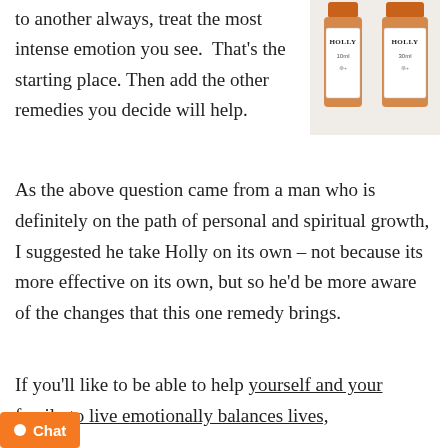to another always, treat the most intense emotion you see.  That's the starting place. Then add the other remedies you decide will help.
[Figure (photo): Two bottles of Holly Bach flower remedy, one 10ml and one 30ml, with orange caps and white labels]
As the above question came from a man who is definitely on the path of personal and spiritual growth, I suggested he take Holly on its own – not because its more effective on its own, but so he'd be more aware of the changes that this one remedy brings.
If you'll like to be able to help yourself and your family to live emotionally balances lives,